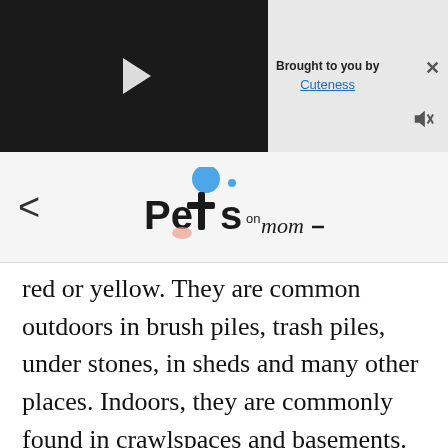[Figure (screenshot): Video player with black background and white play button triangle in center]
[Figure (screenshot): Ad banner: 'Brought to you by Cuteness' with close X button and mute icon on light gray background]
[Figure (logo): PetsOnMom logo with blue circle dot and stylized text, navigation back arrow to the left]
red or yellow. They are common outdoors in brush piles, trash piles, under stones, in sheds and many other places. Indoors, they are commonly found in crawlspaces and basements.